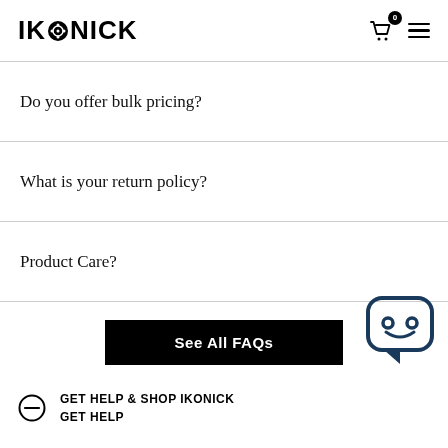IKONICK
Do you offer bulk pricing?
What is your return policy?
Product Care?
See All FAQs
GET HELP & SHOP IKONICK
GET HELP